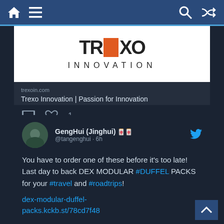Navigation bar with home, menu, search, and shuffle icons
[Figure (logo): Trexo Innovation logo — stylized letters with orange accent bar and the word INNOVATION in spaced caps, on white background]
trexoin.com
Trexo Innovation | Passion for Innovation
Comment icon and Heart icon with count: 1
GengHui (Jinghui) 🀄🀄 @tangenghui · 6h
You have to order one of these before it's too late! Last day to back DEX MODULAR #DUFFEL PACKS for your #travel and #roadtrips!
dex-modular-duffel-packs.kckb.st/78cd7f48